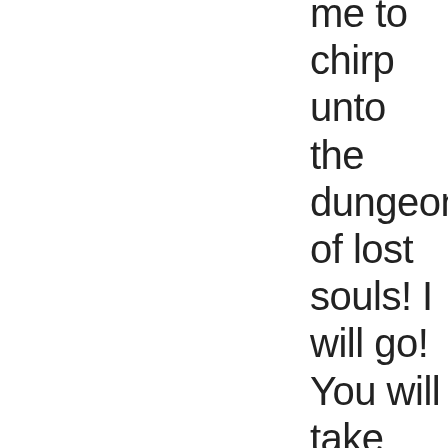me to chirp unto the dungeons of lost souls! I will go! You will take me and I will go! Hallelujah! Jesus breakthrough!!!! Halleluja